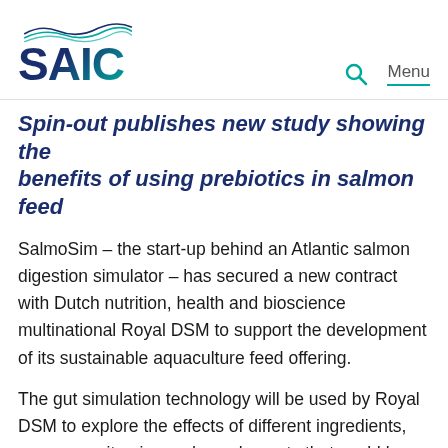SAIC
Spin-out publishes new study showing the benefits of using prebiotics in salmon feed
SalmoSim – the start-up behind an Atlantic salmon digestion simulator – has secured a new contract with Dutch nutrition, health and bioscience multinational Royal DSM to support the development of its sustainable aquaculture feed offering.
The gut simulation technology will be used by Royal DSM to explore the effects of different ingredients, enzymes, vitamins and supplements that could be